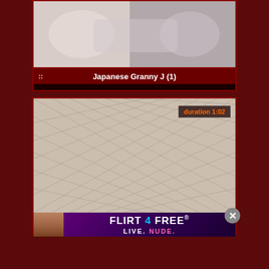[Figure (photo): Thumbnail image for video card, top portion, showing people]
Japanese Granny J (1)
[Figure (photo): Thumbnail image showing person in fishnet stockings with duration badge showing 1:02]
[Figure (photo): Advertisement for Flirt4Free - Live. Nude. with close button X]